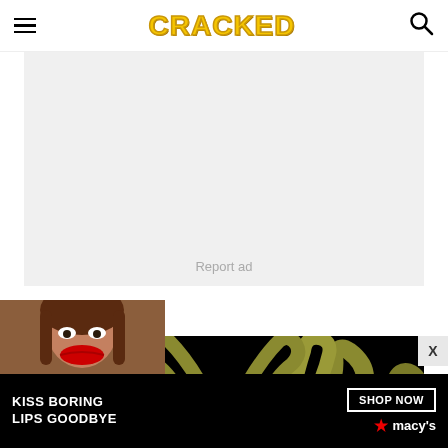CRACKED (logo) with hamburger menu and search icon
[Figure (other): Advertisement placeholder area with light gray background and 'Report ad' text]
1)
[Figure (illustration): Dark illustration showing a man with tentacles rising behind him, wearing a t-shirt with a skull/creature design, holding what appears to be a red sewing machine. Style is black and olive/yellow comic art.]
[Figure (photo): Bottom banner advertisement: 'KISS BORING LIPS GOODBYE' with woman's face and red lips on left, 'SHOP NOW' button and Macy's star logo on right, on black background]